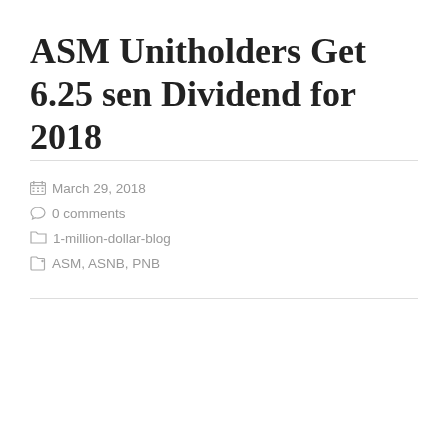ASM Unitholders Get 6.25 sen Dividend for 2018
March 29, 2018
0 comments
1-million-dollar-blog
ASM, ASNB, PNB